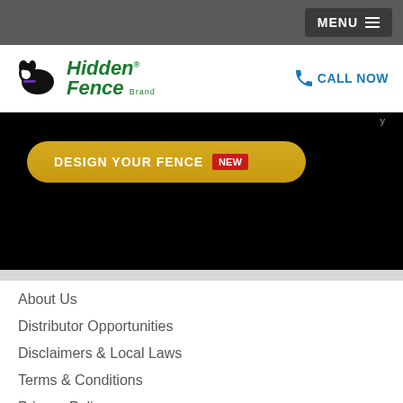MENU
[Figure (logo): Hidden Fence Brand logo with dog silhouette and green italic text]
CALL NOW
[Figure (screenshot): Dark hero section of website with 'DESIGN YOUR FENCE' button in gold/yellow with NEW badge in red]
About Us
Distributor Opportunities
Disclaimers & Local Laws
Terms & Conditions
Privacy Policy
Warranty
Blog